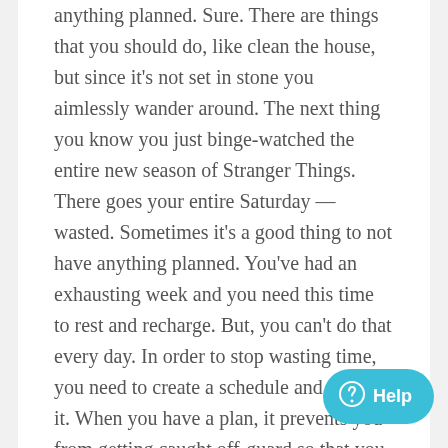anything planned. Sure. There are things that you should do, like clean the house, but since it's not set in stone you aimlessly wander around. The next thing you know you just binge-watched the entire new season of Stranger Things. There goes your entire Saturday — wasted. Sometimes it's a good thing to not have anything planned. You've had an exhausting week and you need this time to rest and recharge. But, you can't do that every day. In order to stop wasting time, you need to create a schedule and stick to it. When you have a plan, it prevents you from getting caught off-guard so that you remain